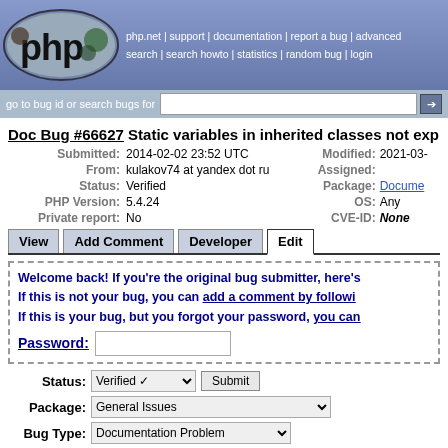[Figure (logo): PHP bug tracker logo with php.net navigation links]
php.net | support | documentation | report a bug | advanced search | search howto | statistics | random bug | login
go to bug id or search bugs for [search input]
Doc Bug #66627 Static variables in inherited classes not expl
| Field | Value | Field | Value |
| --- | --- | --- | --- |
| Submitted: | 2014-02-02 23:52 UTC | Modified: | 2021-03-... |
| From: | kulakov74 at yandex dot ru | Assigned: |  |
| Status: | Verified | Package: | Docume... |
| PHP Version: | 5.4.24 | OS: | Any |
| Private report: | No | CVE-ID: | None |
View | Add Comment | Developer | Edit (tabs)
Welcome back! If you're the original bug submitter, here's... If this is not your bug, you can add a comment by followi... If this is your bug, but you forgot your password, you can... Password: [input]
Status: Verified [dropdown] Submit
Package: General Issues [dropdown]
Bug Type: Documentation Problem [dropdown]